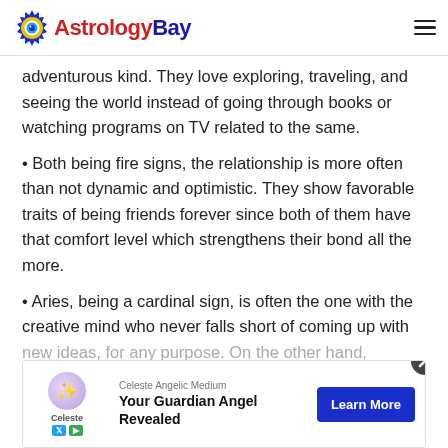AstrologyBay
adventurous kind. They love exploring, traveling, and seeing the world instead of going through books or watching programs on TV related to the same.
Both being fire signs, the relationship is more often than not dynamic and optimistic. They show favorable traits of being friends forever since both of them have that comfort level which strengthens their bond all the more.
Aries, being a cardinal sign, is often the one with the creative mind who never falls short of coming up with new ideas, for any purpose. On the other hand, Sagittarius is a mutable sign and can mold into any plan … they are a… ly go
[Figure (infographic): Advertisement overlay: Celeste Angelic Medium ad with 'Your Guardian Angel Revealed' headline and 'Learn More' CTA button. Close (X) button visible. App/media badges at bottom left.]